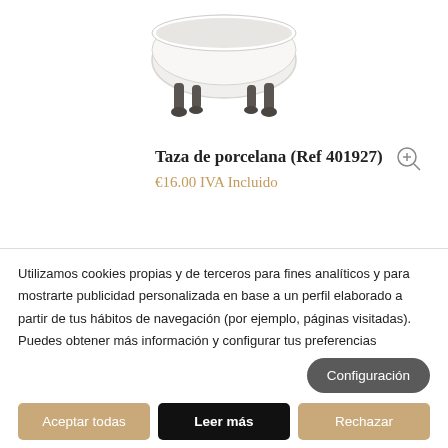[Figure (photo): Partial view of a white porcelain cup/mug with dark decorative animal legs, cropped at top of page]
Taza de porcelana (Ref 401927)
€16.00 IVA Incluido
Utilizamos cookies propias y de terceros para fines analíticos y para mostrarte publicidad personalizada en base a un perfil elaborado a partir de tus hábitos de navegación (por ejemplo, páginas visitadas). Puedes obtener más información y configurar tus preferencias
Configuración
Aceptar todas
Leer más
Rechazar